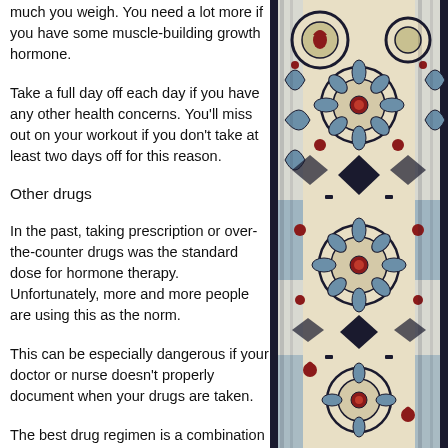much you weigh. You need a lot more if you have some muscle-building growth hormone.
Take a full day off each day if you have any other health concerns. You'll miss out on your workout if you don't take at least two days off for this reason.
Other drugs
In the past, taking prescription or over-the-counter drugs was the standard dose for hormone therapy. Unfortunately, more and more people are using this as the norm.
This can be especially dangerous if your doctor or nurse doesn't properly document when your drugs are taken.
The best drug regimen is a combination of oral contraceptives, muscle-building
[Figure (photo): Decorative ikat textile pattern with blue, red, cream, and dark navy floral and geometric motifs]